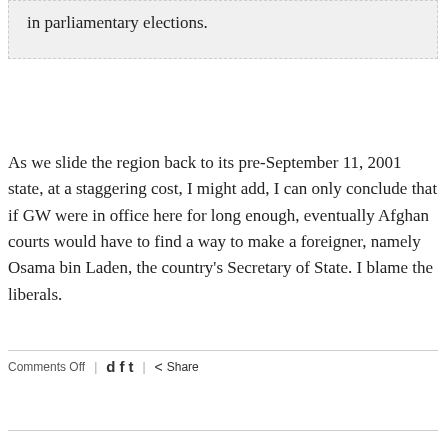in parliamentary elections.
As we slide the region back to its pre-September 11, 2001 state, at a staggering cost, I might add, I can only conclude that if GW were in office here for long enough, eventually Afghan courts would have to find a way to make a foreigner, namely Osama bin Laden, the country’s Secretary of State. I blame the liberals.
Comments Off | d f t | Share